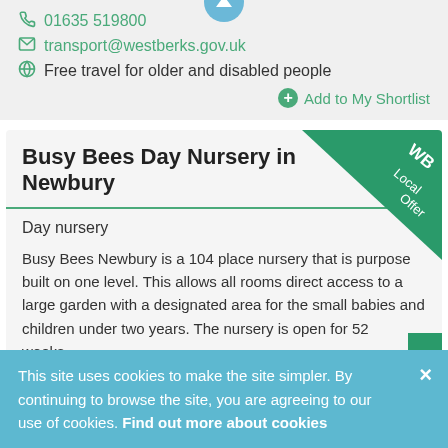01635 519800
transport@westberks.gov.uk
Free travel for older and disabled people
Add to My Shortlist
Busy Bees Day Nursery in Newbury
Day nursery
Busy Bees Newbury is a 104 place nursery that is purpose built on one level. This allows all rooms direct access to a large garden with a designated area for the small babies and children under two years. The nursery is open for 52 weeks...
This site uses cookies to make the site simpler. By continuing to browse the site, you are agreeing to our use of cookies. Find out more about cookies